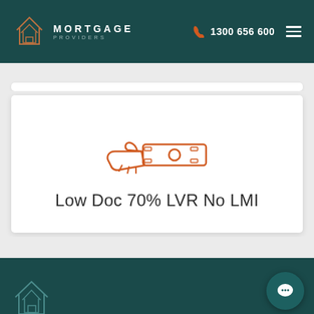MORTGAGE PROVIDERS | 1300 656 600
[Figure (illustration): Orange line-art icon of a hand holding out money/cash notes]
Low Doc 70% LVR No LMI
Mortgage Providers footer with chat icon